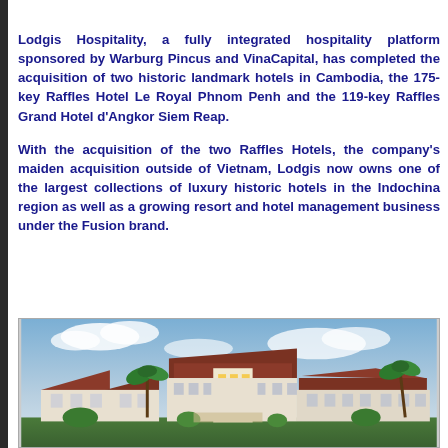Lodgis Hospitality, a fully integrated hospitality platform sponsored by Warburg Pincus and VinaCapital, has completed the acquisition of two historic landmark hotels in Cambodia, the 175-key Raffles Hotel Le Royal Phnom Penh and the 119-key Raffles Grand Hotel d'Angkor Siem Reap.
With the acquisition of the two Raffles Hotels, the company's maiden acquisition outside of Vietnam, Lodgis now owns one of the largest collections of luxury historic hotels in the Indochina region as well as a growing resort and hotel management business under the Fusion brand.
[Figure (photo): Exterior view of a historic hotel building with colonial-style architecture, multiple wings, red/brown tiled roofs, white walls, surrounded by palm trees under a partly cloudy sky.]